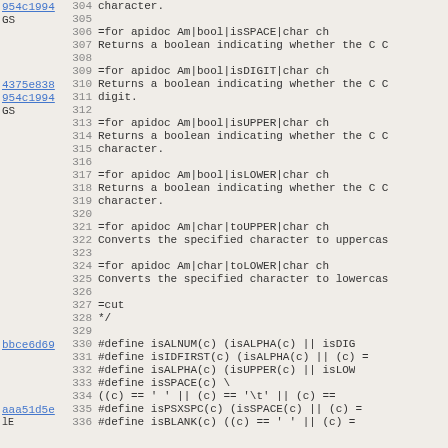Code listing with annotations: lines 304-336 of a C source file showing API documentation and macro definitions for character classification functions (isALNUM, isIDFIRST, isALPHA, isSPACE, isPSXSPC, isUPPER, isLOWER, toUPPER, toLOWER). Left column contains git hash links (954c1994, 4375e838, bbce6d69, aaa51d5e) and labels (GS).